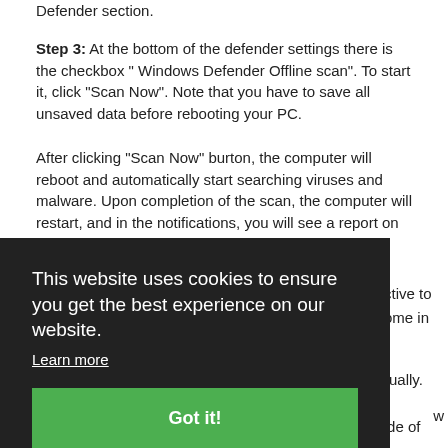Defender section.
Step 3: At the bottom of the defender settings there is the checkbox " Windows Defender Offline scan". To start it, click "Scan Now". Note that you have to save all unsaved data before rebooting your PC.
After clicking “Scan Now” burton, the computer will reboot and automatically start searching viruses and malware. Upon completion of the scan, the computer will restart, and in the notifications, you will see a report on the completed scan.
OPTION 2 — Outbyte Antivirus
[Figure (screenshot): Cookie consent banner overlay with dark background. Text reads: 'This website uses cookies to ensure you get the best experience on our website.' with a 'Learn more' link and a green 'Got it!' button.]
...ctive to ...ome in
...ually.
button. Also, you can select Scan option on the left side of the